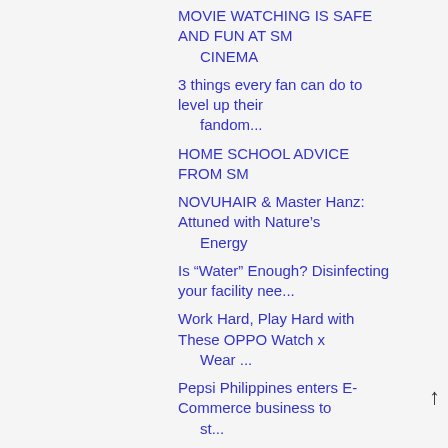MOVIE WATCHING IS SAFE AND FUN AT SM CINEMA
3 things every fan can do to level up their fandom...
HOME SCHOOL ADVICE FROM SM
NOVUHAIR & Master Hanz: Attuned with Nature's Energy
Is “Water” Enough? Disinfecting your facility nee...
Work Hard, Play Hard with These OPPO Watch x Wear ...
Pepsi Philippines enters E-Commerce business to st...
Robinsons Bank extends its piso-fee fund transfers...
Aloe Vera, The Clean Beauty Holy Grail Reshaping H...
Treat Yourself this Coming Holiday Season with The...
A “Dentistry of Excellence” is Taiwan’s promise to...
Mayor Vico Sotto and other local and international...
Get up to 30% discount on Safeguard products on